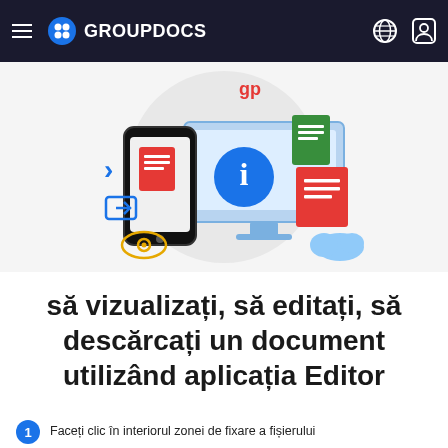GROUPDOCS
[Figure (illustration): GroupDocs illustration showing a smartphone, monitor, document icons (red and green files), a blue info circle, document management icons including an eye icon and login icon, on a light grey circular background]
să vizualizați, să editați, să descărcați un document utilizând aplicația Editor
Faceți clic în interiorul zonei de fixare a fișierului